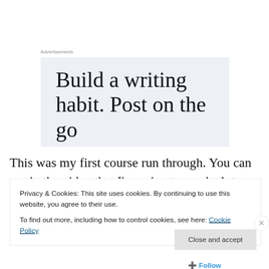Advertisements
[Figure (screenshot): Advertisement with light blue-grey background showing large serif text: 'Build a writing habit. Post on the go']
This was my first course run through. You can see in the video that I'm going to need a lot more practice. Mom is
Privacy & Cookies: This site uses cookies. By continuing to use this website, you agree to their use.
To find out more, including how to control cookies, see here: Cookie Policy
Close and accept